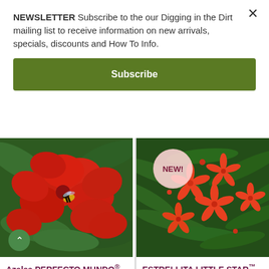NEWSLETTER Subscribe to the our Digging in the Dirt mailing list to receive information on new arrivals, specials, discounts and How To Info.
Subscribe
[Figure (photo): Red azalea flowers with a bee, close-up photo. Product: Azalea PERFECTO MUNDO Orange.]
Azalea PERFECTO MUNDO® Orange
$19.99 – $38.99
[Figure (photo): Orange star-shaped Bouvardia flowers with green leaves. NEW! badge overlay. Product: ESTRELLITA LITTLE STAR Bouvardia.]
ESTRELLITA LITTLE STAR™ Bouvardia
$19.99